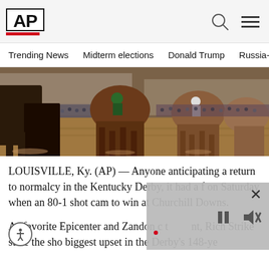AP
Trending News   Midterm elections   Donald Trump   Russia-Ukr
[Figure (photo): Horse race at Churchill Downs, horses galloping on a dirt track with packed grandstands in the background]
LOUISVILLE, Ky. (AP) — Anyone anticipating a return to normalcy in the Kentucky Derby, it had a f on Saturday when an 80-1 shot cam to win at Churchill Downs.
As favorite Epicenter and Zandon c t nt, Rich Strike stole the sho biggest upset in the Derby's 148-ye